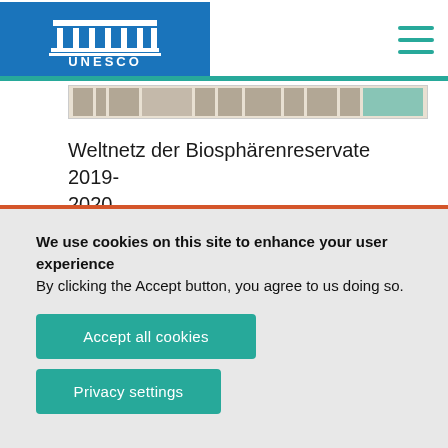[Figure (logo): UNESCO logo — white temple/pillar icon with 'UNESCO' text on blue background]
[Figure (screenshot): Thumbnail strip of a document table or spreadsheet]
Weltnetz der Biosphärenreservate 2019-2020.
We use cookies on this site to enhance your user experience
By clicking the Accept button, you agree to us doing so.
Accept all cookies
Privacy settings